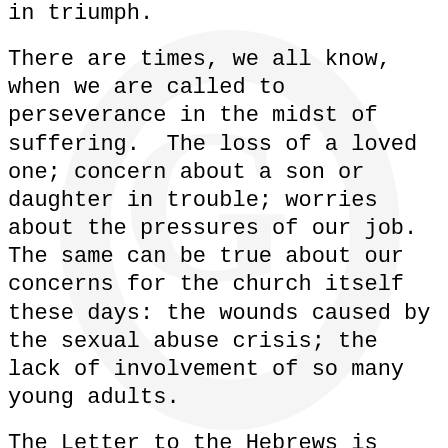in triumph.
There are times, we all know, when we are called to perseverance in the midst of suffering.  The loss of a loved one; concern about a son or daughter in trouble; worries about the pressures of our job.  The same can be true about our concerns for the church itself these days: the wounds caused by the sexual abuse crisis; the lack of involvement of so many young adults.
The Letter to the Hebrews is written for us.  We are asked to take the long view.  To trust in God’s overwhelming love for us.  To remember that Jesus has called the path of suffering and